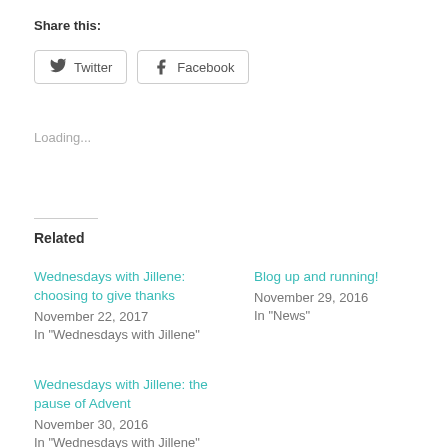Share this:
[Figure (screenshot): Share buttons for Twitter and Facebook]
Loading...
Related
Wednesdays with Jillene: choosing to give thanks
November 22, 2017
In "Wednesdays with Jillene"
Blog up and running!
November 29, 2016
In "News"
Wednesdays with Jillene: the pause of Advent
November 30, 2016
In "Wednesdays with Jillene"